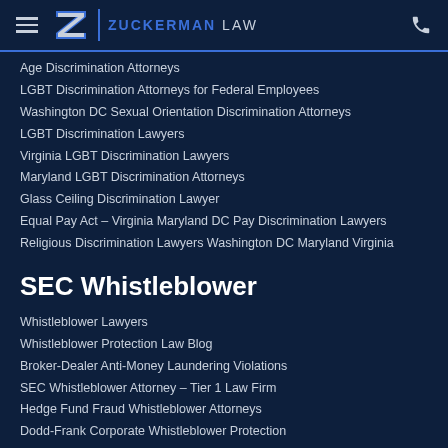Zuckerman Law
Age Discrimination Attorneys
LGBT Discrimination Attorneys for Federal Employees
Washington DC Sexual Orientation Discrimination Attorneys
LGBT Discrimination Lawyers
Virginia LGBT Discrimination Lawyers
Maryland LGBT Discrimination Attorneys
Glass Ceiling Discrimination Lawyer
Equal Pay Act – Virginia Maryland DC Pay Discrimination Lawyers
Religious Discrimination Lawyers Washington DC Maryland Virginia
SEC Whistleblower
Whistleblower Lawyers
Whistleblower Protection Law Blog
Broker-Dealer Anti-Money Laundering Violations
SEC Whistleblower Attorney – Tier 1 Law Firm
Hedge Fund Fraud Whistleblower Attorneys
Dodd-Frank Corporate Whistleblower Protection
Washington DC SEC Whistleblower Lawyers